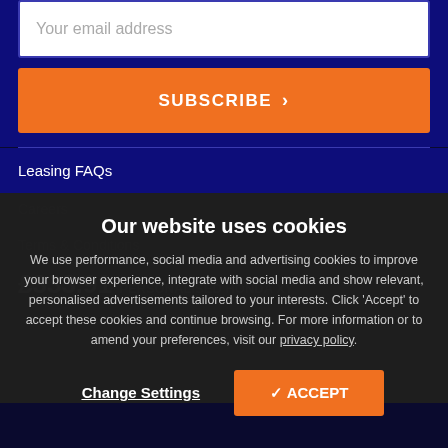Your email address
SUBSCRIBE >
Leasing FAQs
Careers
Terms & Conditions
£333.91
Our website uses cookies
We use performance, social media and advertising cookies to improve your browser experience, integrate with social media and show relevant, personalised advertisements tailored to your interests. Click 'Accept' to accept these cookies and continue browsing. For more information or to amend your preferences, visit our privacy policy.
Change Settings
✓ ACCEPT